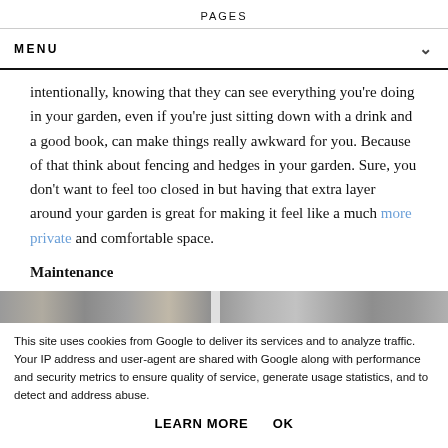PAGES
MENU
intentionally, knowing that they can see everything you're doing in your garden, even if you're just sitting down with a drink and a good book, can make things really awkward for you. Because of that think about fencing and hedges in your garden. Sure, you don't want to feel too closed in but having that extra layer around your garden is great for making it feel like a much more private and comfortable space.
Maintenance
[Figure (photo): Partial blurred image strip showing an outdoor garden scene]
This site uses cookies from Google to deliver its services and to analyze traffic. Your IP address and user-agent are shared with Google along with performance and security metrics to ensure quality of service, generate usage statistics, and to detect and address abuse.
LEARN MORE    OK